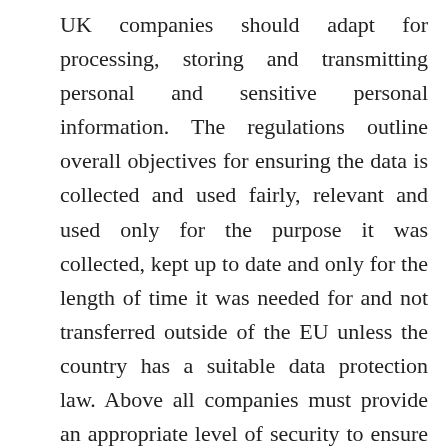UK companies should adapt for processing, storing and transmitting personal and sensitive personal information. The regulations outline overall objectives for ensuring the data is collected and used fairly, relevant and used only for the purpose it was collected, kept up to date and only for the length of time it was needed for and not transferred outside of the EU unless the country has a suitable data protection law. Above all companies must provide an appropriate level of security to ensure the protection of this data. Find out more about the DPA.